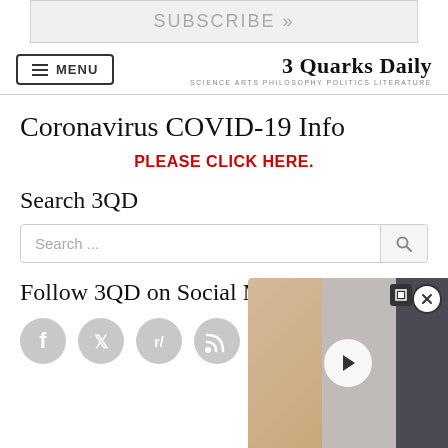SUBSCRIBE »
≡ MENU   3 Quarks Daily SCIENCE ARTS PHILOSOPHY POLITICS LITERATURE
Coronavirus COVID-19 Info
PLEASE CLICK HERE.
Search 3QD
Search ...
Follow 3QD on Social Media
[Figure (screenshot): Social media icons: Facebook, Twitter, Reddit, RSS, Pocket]